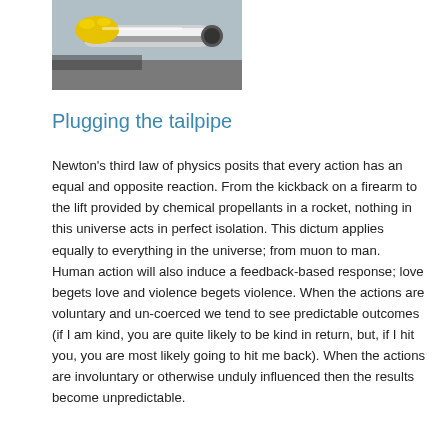[Figure (photo): A close-up photograph of a yellow gloved hand working on a chrome tailpipe or exhaust fitting, with a vehicle in the background.]
Plugging the tailpipe
Newton’s third law of physics posits that every action has an equal and opposite reaction. From the kickback on a firearm to the lift provided by chemical propellants in a rocket, nothing in this universe acts in perfect isolation. This dictum applies equally to everything in the universe; from muon to man. Human action will also induce a feedback-based response; love begets love and violence begets violence. When the actions are voluntary and un-coerced we tend to see predictable outcomes (if I am kind, you are quite likely to be kind in return, but, if I hit you, you are most likely going to hit me back). When the actions are involuntary or otherwise unduly influenced then the results become unpredictable.